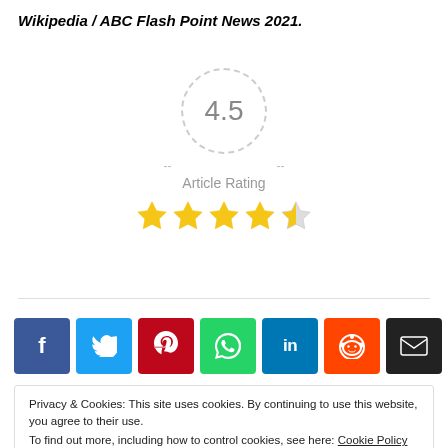Wikipedia / ABC Flash Point News 2021.
[Figure (infographic): Article rating widget showing 4.5 out of 5 stars. A dashed circle contains the number 4.5, beneath is the label 'Article Rating', and below that are 4.5 gold stars.]
[Figure (infographic): Row of social share buttons: Facebook (blue), Twitter (cyan), Pinterest (red), WhatsApp (green), LinkedIn (dark blue), Reddit (orange), Email (black), More/Plus (white outline).]
Privacy & Cookies: This site uses cookies. By continuing to use this website, you agree to their use.
To find out more, including how to control cookies, see here: Cookie Policy